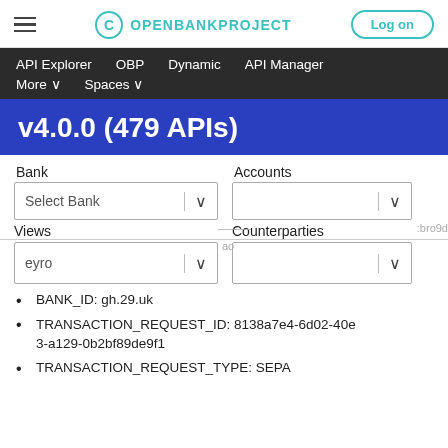OPENBANKPROJECT — Log on
API Explorer   OBP   Dynamic   API Manager   More ∨   Spaces ∨
v4.0.0 (479 APIs)
Bank   Accounts
Select Bank
Views   Counterparties
eyro
BANK_ID: gh.29.uk
TRANSACTION_REQUEST_ID: 8138a7e4-6d02-40e3-a129-0b2bf89de9f1
TRANSACTION_REQUEST_TYPE: SEPA